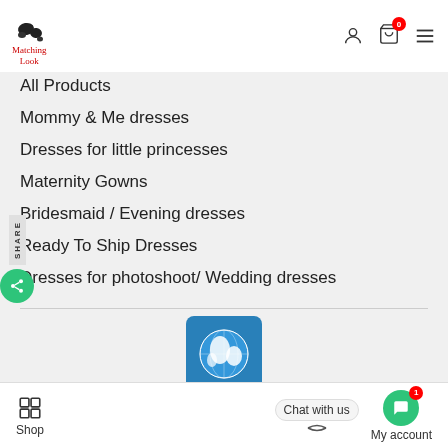COLLECTIONS
[Figure (logo): Matching Look logo with bird silhouette and cursive text]
All Products
Mommy & Me dresses
Dresses for little princesses
Maternity Gowns
Bridesmaid / Evening dresses
Ready To Ship Dresses
Dresses for photoshoot/ Wedding dresses
[Figure (illustration): Globe/Earth icon with blue background]
Shop   Chat with us   My account